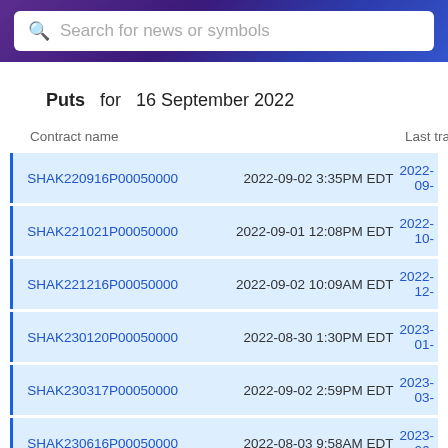[Figure (screenshot): Search bar with magnifying glass icon and placeholder text 'Search for news or symbols' on a purple/blue gradient background]
Puts  for  16 September 2022
| Contract name | Last trade date | Expiry da |
| --- | --- | --- |
| SHAK220916P00050000 | 2022-09-02 3:35PM EDT | 2022-09- |
| SHAK221021P00050000 | 2022-09-01 12:08PM EDT | 2022-10- |
| SHAK221216P00050000 | 2022-09-02 10:09AM EDT | 2022-12- |
| SHAK230120P00050000 | 2022-08-30 1:30PM EDT | 2023-01- |
| SHAK230317P00050000 | 2022-09-02 2:59PM EDT | 2023-03- |
| SHAK230616P00050000 | 2022-08-03 9:58AM EDT | 2023-06- |
| SHAK240119P00050000 | 2022-08-24 10:46AM EDT | 2024-01- |